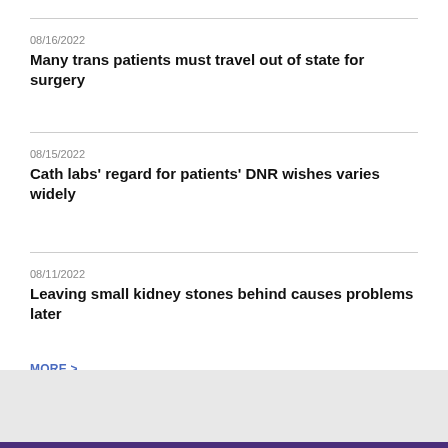08/16/2022
Many trans patients must travel out of state for surgery
08/15/2022
Cath labs' regard for patients' DNR wishes varies widely
08/11/2022
Leaving small kidney stones behind causes problems later
MORE >